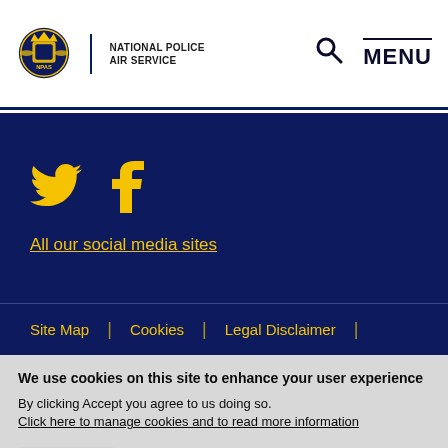[Figure (logo): National Police Air Service logo with crest and text]
NATIONAL POLICE AIR SERVICE | Search | MENU
[Figure (infographic): Twitter and Facebook social media icons in yellow on dark navy background]
All our social media sites
Site Map | Cookies | Legal Disclaimer |
We use cookies on this site to enhance your user experience
By clicking Accept you agree to us doing so. Click here to manage cookies and to read more information
Accept